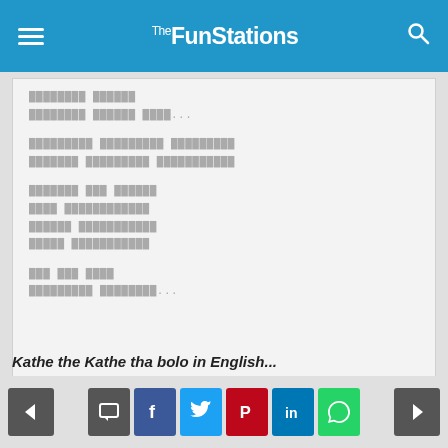TheFunStations
[Figure (screenshot): A content box with redacted/placeholder text in a non-Latin script shown as grey rectangle characters, arranged in several paragraph blocks]
Kathe the Katho tha bolo in English...
Navigation and social sharing buttons: back, comment, facebook, twitter, pinterest, linkedin, whatsapp, forward